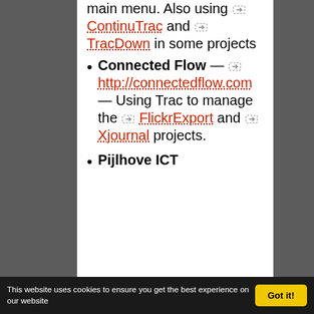main menu. Also using ContinuTrac and TracDown in some projects
Connected Flow — http://connectedflow.com — Using Trac to manage the FlickrExport and Xjournal projects.
Pijlhove ICT
This website uses cookies to ensure you get the best experience on our website  Got it!